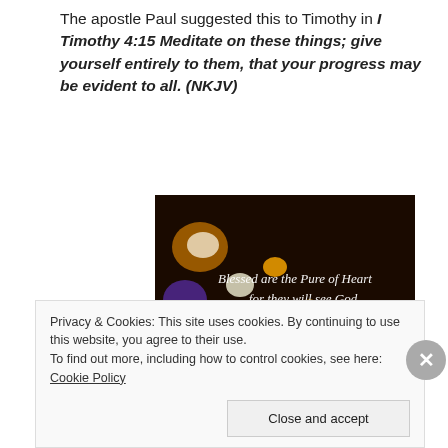The apostle Paul suggested this to Timothy in I Timothy 4:15 Meditate on these things; give yourself entirely to them, that your progress may be evident to all. (NKJV)
[Figure (photo): Bokeh photo of colorful heart-shaped lights on a dark background with scripture text: 'Blessed are the Pure of Heart for they will see God - Matthew 5:8']
Privacy & Cookies: This site uses cookies. By continuing to use this website, you agree to their use.
To find out more, including how to control cookies, see here: Cookie Policy
Close and accept